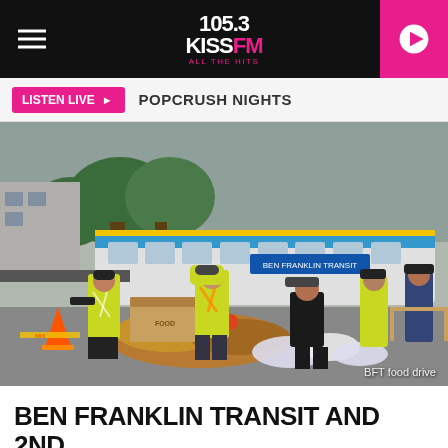105.3 KISS FM ALL THE HITS
LISTEN LIVE ▶  POPCRUSH NIGHTS
[Figure (photo): Volunteers in yellow safety vests and masks sorting food donations at an outdoor event, with a blue and white Ben Franklin Transit bus in the background. Caption reads: BFT food drive.]
BFT food drive
BEN FRANKLIN TRANSIT AND 2ND